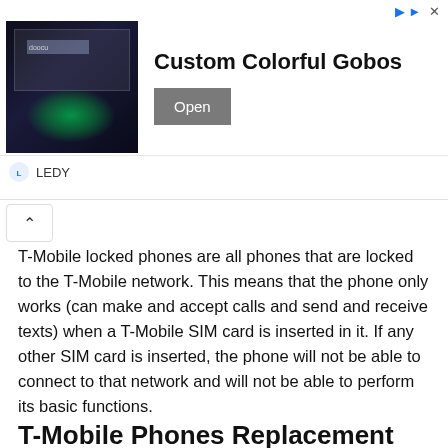[Figure (photo): Advertisement banner showing a store interior with a green gobo light projection on the floor, for a product called Custom Colorful Gobos by LEDY brand, with an Open button]
T-Mobile locked phones are all phones that are locked to the T-Mobile network. This means that the phone only works (can make and accept calls and send and receive texts) when a T-Mobile SIM card is inserted in it. If any other SIM card is inserted, the phone will not be able to connect to that network and will not be able to perform its basic functions.
On the opposite side, the T-Mobile unlocked phones or any other unlocked phones represent devices that are generally free to use with all carriers that have the BYOP option enabled.
T-Mobile Phones Replacement